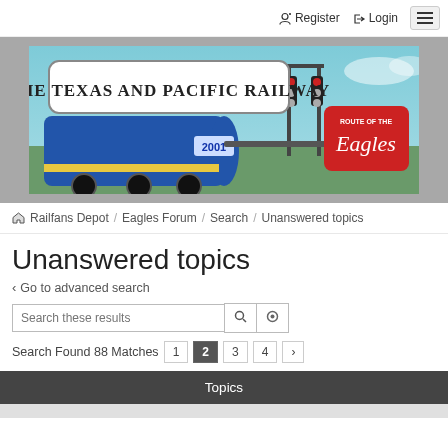Register  Login  [menu]
[Figure (illustration): Banner image for The Texas and Pacific Railway website showing a blue locomotive and Route of the Eagles sign]
Railfans Depot / Eagles Forum / Search / Unanswered topics
Unanswered topics
< Go to advanced search
Search these results
Search Found 88 Matches  1  2  3  4  >
Topics